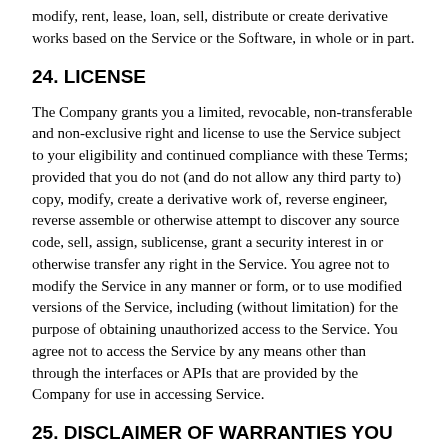modify, rent, lease, loan, sell, distribute or create derivative works based on the Service or the Software, in whole or in part.
24. LICENSE
The Company grants you a limited, revocable, non-transferable and non-exclusive right and license to use the Service subject to your eligibility and continued compliance with these Terms; provided that you do not (and do not allow any third party to) copy, modify, create a derivative work of, reverse engineer, reverse assemble or otherwise attempt to discover any source code, sell, assign, sublicense, grant a security interest in or otherwise transfer any right in the Service. You agree not to modify the Service in any manner or form, or to use modified versions of the Service, including (without limitation) for the purpose of obtaining unauthorized access to the Service. You agree not to access the Service by any means other than through the interfaces or APIs that are provided by the Company for use in accessing Service.
25. DISCLAIMER OF WARRANTIES YOU